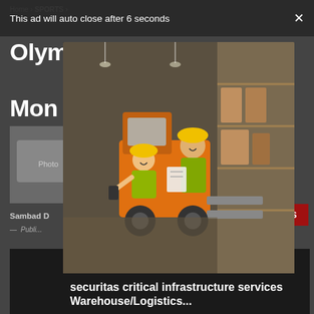Home > SPORTS >
This ad will auto close after 6 seconds   X
Olym... layer Mon...
Sambad D...
— Publi...
[Figure (photo): SPORTS badge / section label in red]
[Figure (photo): Advertisement modal overlay showing warehouse workers in safety vests and hard hats near a forklift in a warehouse setting. Ad text: 'securitas critical infrastructure services Warehouse/Logistics...' with AD jobble.com branding and VIEW MORE button.]
[Figure (photo): Partially visible photo of a tennis player (female) wearing a cap and red outfit, holding a racket, with dark background.]